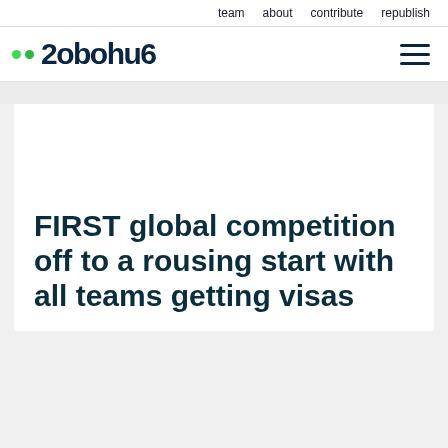team   about   contribute   republish
[Figure (logo): Robohub logo with two green dots and stylized text 'Robohub' in dark navy, and a hamburger menu icon on the right]
FIRST global competition off to a rousing start with all teams getting visas